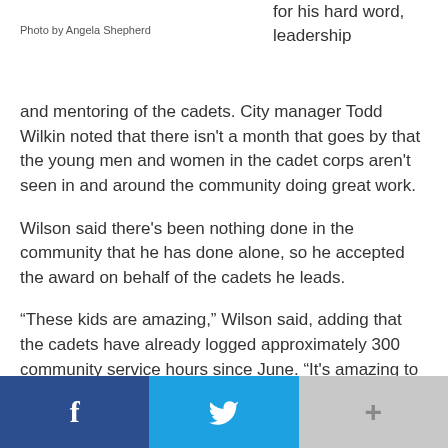Photo by Angela Shepherd
for his hard word, leadership and mentoring of the cadets. City manager Todd Wilkin noted that there isn't a month that goes by that the young men and women in the cadet corps aren't seen in and around the community doing great work.
Wilson said there's been nothing done in the community that he has done alone, so he accepted the award on behalf of the cadets he leads.
“These kids are amazing,” Wilson said, adding that the cadets have already logged approximately 300 community service hours since June. “It's amazing to me,” he added speaking of the cadets’ energy to serve the community.
Council members and Wilkin added their own comments regarding the work of the cadets and how they have some
[Figure (other): Social sharing bar with Facebook, Twitter, and more buttons]